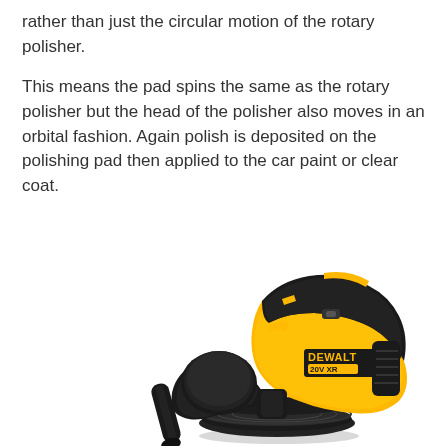rather than just the circular motion of the rotary polisher.
This means the pad spins the same as the rotary polisher but the head of the polisher also moves in an orbital fashion. Again polish is deposited on the polishing pad then applied to the car paint or clear coat.
[Figure (photo): A yellow and black DeWalt 20V XR cordless random orbital polisher shown at an angle, with a black polishing pad at the bottom and a side handle attached.]